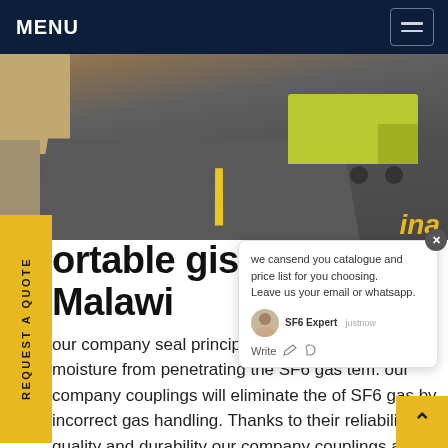MENU
[Figure (photo): Hero image showing a road with a truck viewed from behind, with a curb and vegetation on the left side]
REQUEST A QUOTE
portable gis sf6 vo... Malawi
our company seal principle pre...ss of gas and moisture from penetrating the SF6 gas tem. our company couplings will eliminate the of SF6 gas by incorrect gas handling. Thanks to their reliability, quality and durability our company couplings are the world's most widely used connecting system for SF6 switchgear.Get price
[Figure (screenshot): Chat popup widget showing message: we cansend you catalogue and price list for you choosing. Leave us your email or whatsapp. With SF6 Expert agent shown as justnow and a Write input area with like and attachment icons.]